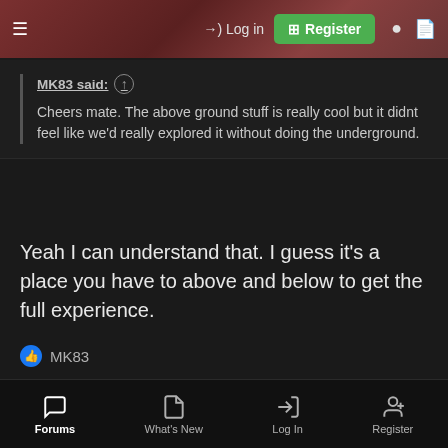Log in | Register
MK83 said: ↑
Cheers mate. The above ground stuff is really cool but it didnt feel like we'd really explored it without doing the underground.
Yeah I can understand that. I guess it's a place you have to above and below to get the full experience.
MK83
MK83
28DL Full Member  28DL Full Member
Forums | What's New | Log In | Register